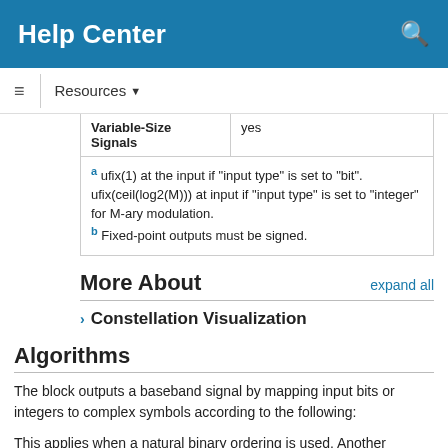Help Center
Resources ▾
| Variable-Size Signals | yes |
| a ufix(1) at the input if "input type" is set to "bit". ufix(ceil(log2(M))) at input if "input type" is set to "integer" for M-ary modulation.
b Fixed-point outputs must be signed. |  |
More About
expand all
Constellation Visualization
Algorithms
The block outputs a baseband signal by mapping input bits or integers to complex symbols according to the following:
This applies when a natural binary ordering is used. Another